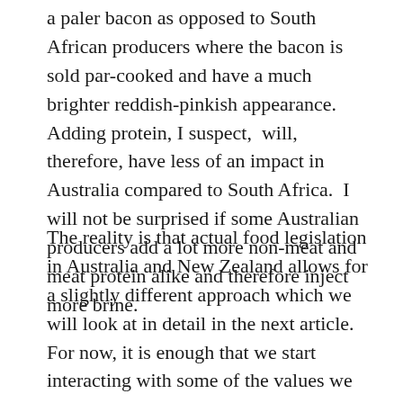a paler bacon as opposed to South African producers where the bacon is sold par-cooked and have a much brighter reddish-pinkish appearance.  Adding protein, I suspect,  will, therefore, have less of an impact in Australia compared to South Africa.  I will not be surprised if some Australian producers add a lot more non-meat and meat protein alike and therefore inject more brine.
The reality is that actual food legislation in Australia and New Zealand allows for a slightly different approach which we will look at in detail in the next article. For now, it is enough that we start interacting with some of the values we encounter as we learn how they were discovered.